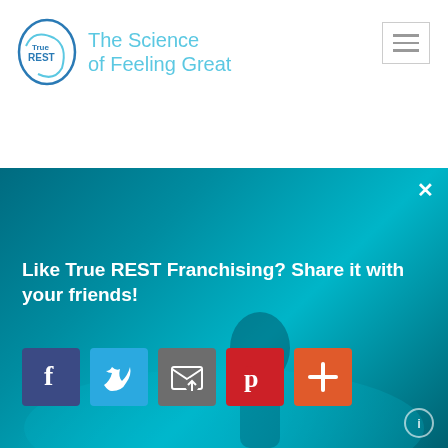True REST — The Science of Feeling Great
Rather than fight the flow, try a diff... approach: float into it
[Figure (photo): Modal overlay on top of a photo of a woman in a float therapy pod with teal/blue lighting. The modal contains sharing prompt text and social media buttons for Facebook, Twitter, Email, Pinterest, and a plus/share button.]